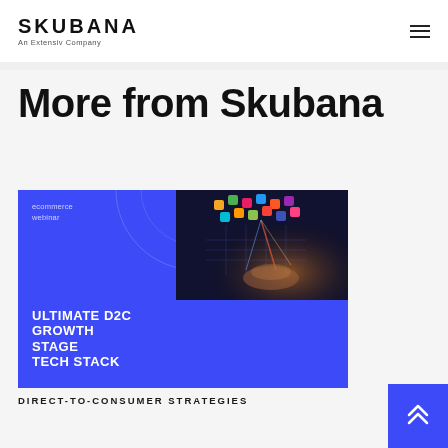SKUBANA — An Extensiv Company
More from Skubana
[Figure (illustration): Promotional card for an ecommerce webinar titled 'ULTIMATE D2C GROWTH STAGE TECH STACK'. Left side is a blue panel with 'ecommerce webinar' label and white bold text. Right side shows a photo of a hand touching a glowing digital grid with colorful app icons floating above it. The card spans two rows with the photo on the upper right and blue panels elsewhere.]
DIRECT-TO-CONSUMER STRATEGIES